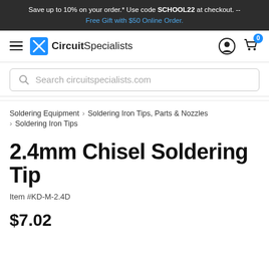Save up to 10% on your order.* Use code SCHOOL22 at checkout. -- Free Gift with $50 Online Order.
[Figure (logo): CircuitSpecialists logo with hamburger menu, account icon, and cart icon with badge 0]
[Figure (screenshot): Search bar with placeholder text: Search circuitspecialists.com]
Soldering Equipment > Soldering Iron Tips, Parts & Nozzles > Soldering Iron Tips
2.4mm Chisel Soldering Tip
Item #KD-M-2.4D
$7.02